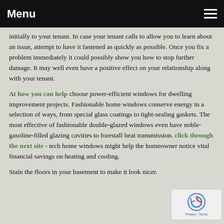Menu
initially to your tenant. In case your tenant calls to allow you to learn about an issue, attempt to have it fastened as quickly as possible. Once you fix a problem immediately it could possibly show you how to stop further damage. It may well even have a positive effect on your relationship along with your tenant.
At how you can help choose power-efficient windows for dwelling improvement projects. Fashionable home windows conserve energy in a selection of ways, from special glass coatings to tight-sealing gaskets. The most effective of fashionable double-glazed windows even have noble-gasoline-filled glazing cavities to forestall heat transmission. click through the next site - tech home windows might help the homeowner notice vital financial savings on heating and cooling.
Stain the floors in your basement to make it look nicer.